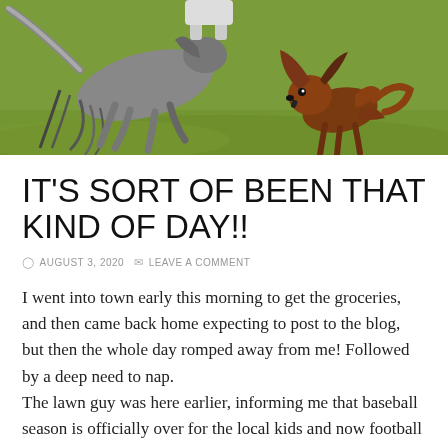[Figure (illustration): Illustrated scene of dogs running and playing on a grassy field. A large dog with long grey-black fur is shown mid-run, and a smaller brown and black dog is barking or reacting to something. The background is green grass with some lighter areas.]
IT'S SORT OF BEEN THAT KIND OF DAY!!
AUGUST 3, 2020   LEAVE A COMMENT
I went into town early this morning to get the groceries, and then came back home expecting to post to the blog, but then the whole day romped away from me! Followed by a deep need to nap.
The lawn guy was here earlier, informing me that baseball season is officially over for the local kids and now football season has begun. (This is, of course, assuming that none of the